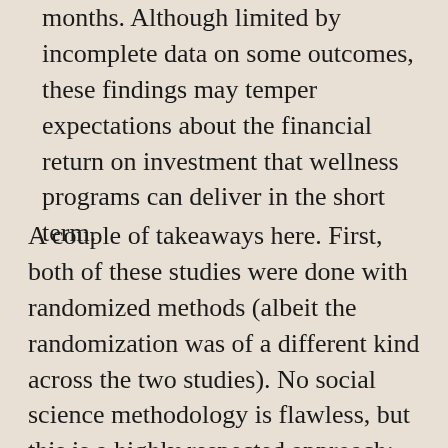months. Although limited by incomplete data on some outcomes, these findings may temper expectations about the financial return on investment that wellness programs can deliver in the short term.
A couple of takeaways here. First, both of these studies were done with randomized methods (albeit the randomization was of a different kind across the two studies). No social science methodology is flawless, but this is a highly respected approach; indeed, applying randomized experimental methods to issues in development economics won the most recent Nobel prize in economics. In other words, these similarly disappointing results from two different datasets deserve